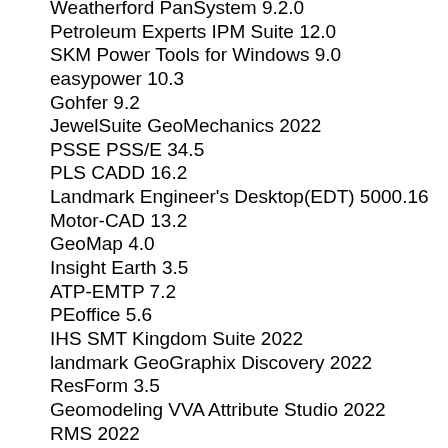Weatherford PanSystem 9.2.0
Petroleum Experts IPM Suite 12.0
SKM Power Tools for Windows 9.0
easypower 10.3
Gohfer 9.2
JewelSuite GeoMechanics 2022
PSSE PSS/E 34.5
PLS CADD 16.2
Landmark Engineer's Desktop(EDT) 5000.16
Motor-CAD 13.2
GeoMap 4.0
Insight Earth 3.5
ATP-EMTP 7.2
PEoffice 5.6
IHS SMT Kingdom Suite 2022
landmark GeoGraphix Discovery 2022
ResForm 3.5
Geomodeling VVA Attribute Studio 2022
RMS 2022
pscad 4.6.3
Digsilent PowerFactory 15.2.1
Paradigm SKUA GOCAD 2022
Paradigm Sysdrill 2009
Paradigm Geodepth 2009